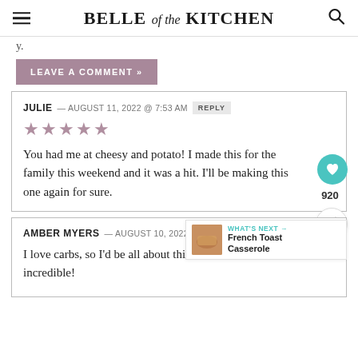BELLE of the KITCHEN
y.
LEAVE A COMMENT »
JULIE — AUGUST 11, 2022 @ 7:53 AM  REPLY
★★★★★
You had me at cheesy and potato! I made this for the family this weekend and it was a hit. I'll be making this one again for sure.
AMBER MYERS — AUGUST 10, 2022 @ 8:31 PM
I love carbs, so I'd be all about this casserole. It looks incredible!